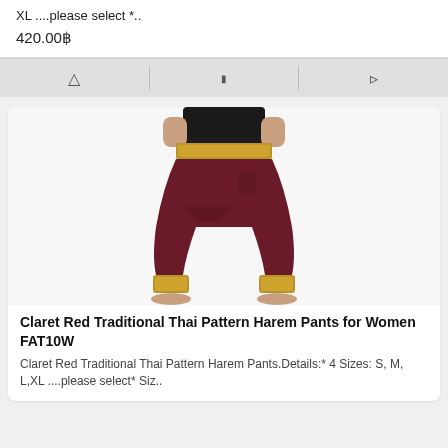XL ....please select *..
420.00฿
[Figure (photo): Product photo of Claret Red Traditional Thai Pattern Harem Pants for Women, showing a woman wearing dark maroon/claret harem pants with gold Thai pattern trim at waist and ankles, black top, barefoot.]
Claret Red Traditional Thai Pattern Harem Pants for Women FAT10W
Claret Red Traditional Thai Pattern Harem Pants.Details:* 4 Sizes: S, M, L,XL ....please select* Siz..